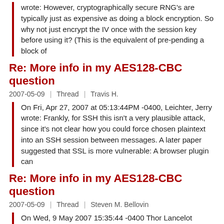wrote: However, cryptographically secure RNG's are typically just as expensive as doing a block encryption. So why not just encrypt the IV once with the session key before using it? (This is the equivalent of pre-pending a block of
Re: More info in my AES128-CBC question
2007-05-09 | Thread | Travis H.
On Fri, Apr 27, 2007 at 05:13:44PM -0400, Leichter, Jerry wrote: Frankly, for SSH this isn't a very plausible attack, since it's not clear how you could force chosen plaintext into an SSH session between messages. A later paper suggested that SSL is more vulnerable: A browser plugin can
Re: More info in my AES128-CBC question
2007-05-09 | Thread | Steven M. Bellovin
On Wed, 9 May 2007 15:35:44 -0400 Thor Lancelot Simon [EMAIL PROTECTED] wrote: On Wed, May 09, 2007 at 01:13:36AM -0500, Travis H. wrote: On Fri, Apr 27, 2007 at 05:13:44PM -0400, Leichter, Jerry wrote: Frankly, for SSH this isn't a very plausible attack, since it's not clear how you
Re: More info in my AES128-CBC question
2007-05-09 | Thread | Leichter, Jerry